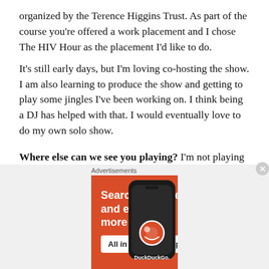organized by the Terence Higgins Trust.  As part of the course you're offered a work placement and I chose The HIV Hour as the placement I'd like to do.
It's still early days, but I'm loving co-hosting the show.  I am also learning to produce the show and getting to play some jingles I've been working on.  I think being a DJ has helped with that. I would eventually love to do my own solo show.
Where else can we see you playing? I'm not playing any residencies at the moment but I am Djing for
[Figure (screenshot): DuckDuckGo advertisement banner with orange background showing 'Search, browse, and email with more privacy. All in One Free App' text alongside a phone graphic and DuckDuckGo logo]